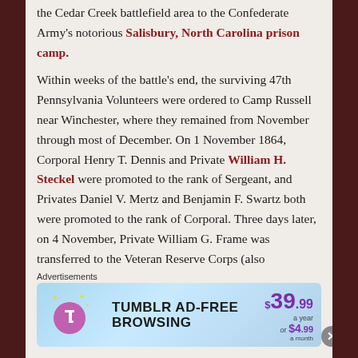the Cedar Creek battlefield area to the Confederate Army's notorious Salisbury, North Carolina prison camp.
Within weeks of the battle's end, the surviving 47th Pennsylvania Volunteers were ordered to Camp Russell near Winchester, where they remained from November through most of December. On 1 November 1864, Corporal Henry T. Dennis and Private William H. Steckel were promoted to the rank of Sergeant, and Privates Daniel V. Mertz and Benjamin F. Swartz both were promoted to the rank of Corporal. Three days later, on 4 November, Private William G. Frame was transferred to the Veteran Reserve Corps (also
Advertisements
[Figure (other): Tumblr Ad-Free Browsing advertisement banner showing $39.99 a year or $4.99 a month pricing with Tumblr logo]